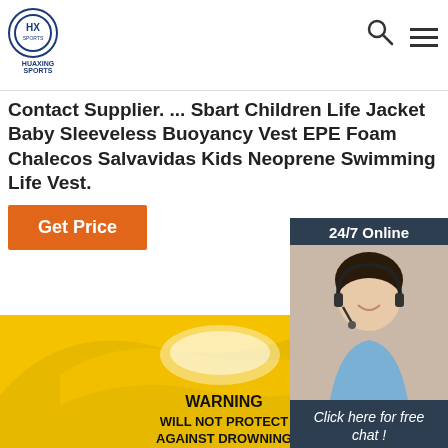HUAXING SPORTS
Contact Supplier. ... Sbart Children Life Jacket Baby Sleeveless Buoyancy Vest EPE Foam Chalecos Salvavidas Kids Neoprene Swimming Life Vest.
Get Price
[Figure (photo): 24/7 Online chat widget with photo of smiling woman with headset, 'Click here for free chat!' text, and orange QUOTATION button]
[Figure (photo): Close-up photo of yellow children's life jacket with WARNING WILL NOT PROTECT AGAINST DROWNING text printed on it, and TOP badge in lower right]
WARNING
WILL NOT PROTECT
AGAINST DROWNING